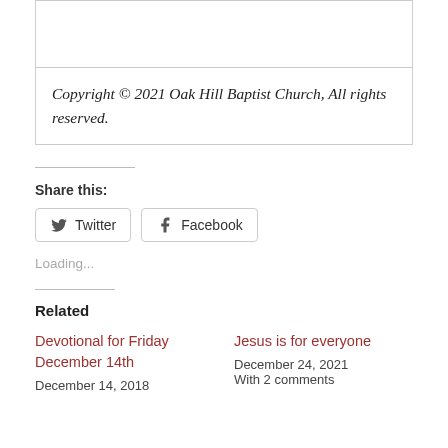Copyright © 2021 Oak Hill Baptist Church, All rights reserved.
Share this:
Loading...
Related
Devotional for Friday December 14th
December 14, 2018
Jesus is for everyone
December 24, 2021
With 2 comments